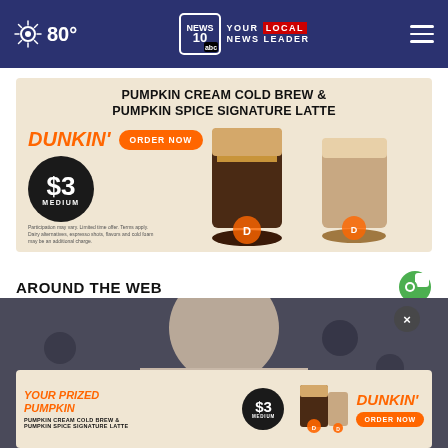80° | NEWS 10 abc YOUR LOCAL NEWS LEADER
[Figure (photo): Dunkin advertisement banner: Pumpkin Cream Cold Brew & Pumpkin Spice Signature Latte, $3 medium, Order Now]
AROUND THE WEB
[Figure (photo): Woman with blonde hair in blurred background photo, with Dunkin ad overlay at bottom showing 'Your Prized Pumpkin $3 medium Dunkin Order Now']